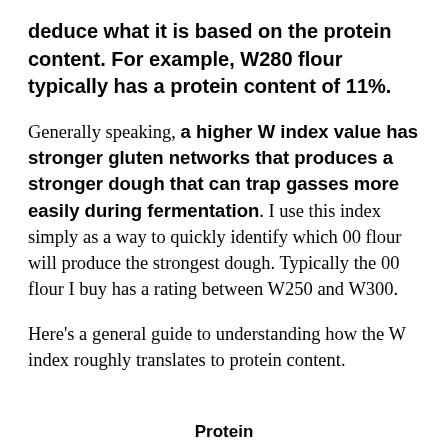deduce what it is based on the protein content. For example, W280 flour typically has a protein content of 11%.
Generally speaking, a higher W index value has stronger gluten networks that produces a stronger dough that can trap gasses more easily during fermentation. I use this index simply as a way to quickly identify which 00 flour will produce the strongest dough. Typically the 00 flour I buy has a rating between W250 and W300.
Here's a general guide to understanding how the W index roughly translates to protein content.
Protein